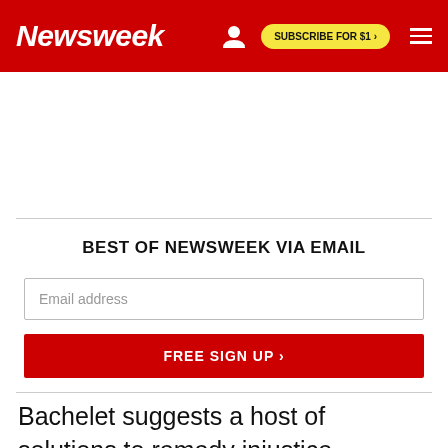Newsweek | SUBSCRIBE FOR $1 >
BEST OF NEWSWEEK VIA EMAIL
Email address
FREE SIGN UP >
Bachelet suggests a host of solutions to remedy injustice, including issuing reparations.